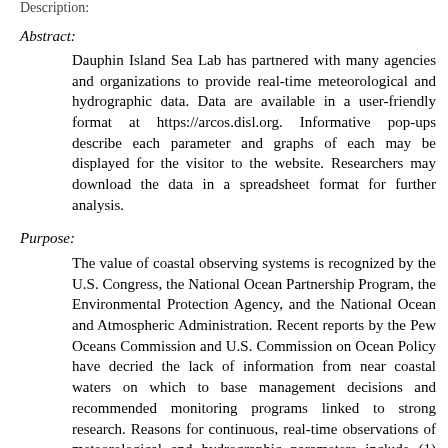Description:
Abstract:
Dauphin Island Sea Lab has partnered with many agencies and organizations to provide real-time meteorological and hydrographic data. Data are available in a user-friendly format at https://arcos.disl.org. Informative pop-ups describe each parameter and graphs of each may be displayed for the visitor to the website. Researchers may download the data in a spreadsheet format for further analysis.
Purpose:
The value of coastal observing systems is recognized by the U.S. Congress, the National Ocean Partnership Program, the Environmental Protection Agency, and the National Ocean and Atmospheric Administration. Recent reports by the Pew Oceans Commission and U.S. Commission on Ocean Policy have decried the lack of information from near coastal waters on which to base management decisions and recommended monitoring programs linked to strong research. Reasons for continuous, real-time observations of meteorological and hydrographic parameters include (1) continuous characterization of spatial and temporal patterns of change in water quality, (2) development of a permanent record of significant and human caused changes in environmental indicators over time, and (3) support for